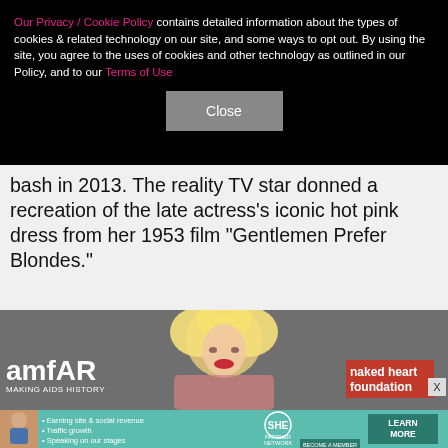Our Privacy / Cookie Policy contains detailed information about the types of cookies & related technology on our site, and some ways to opt out. By using the site, you agree to the uses of cookies and other technology as outlined in our Policy, and to our Terms of Use
Close
bash in 2013. The reality TV star donned a recreation of the late actress's iconic hot pink dress from her 1953 film "Gentlemen Prefer Blondes."
[Figure (photo): Person dressed as Marilyn Monroe with blonde curly hair and red lipstick at an amfAR event, with 'naked heart foundation' banner visible]
[Figure (infographic): SHE Partner Network advertisement banner with avatar, bullet points about earning site & social revenue, traffic growth, speaking on stages, and a Learn More button]